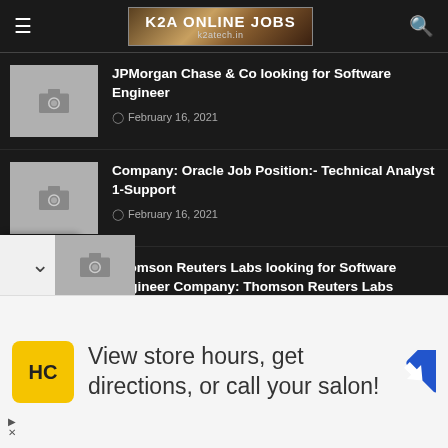K2A ONLINE JOBS k2atech.in
JPMorgan Chase & Co looking for Software Engineer
February 16, 2021
Company: Oracle Job Position:- Technical Analyst 1-Support
February 16, 2021
Thomson Reuters Labs looking for Software Engineer Company: Thomson Reuters Labs
February 16, 2021
Company: infotech Positions: Software Testing Trainee
View store hours, get directions, or call your salon!